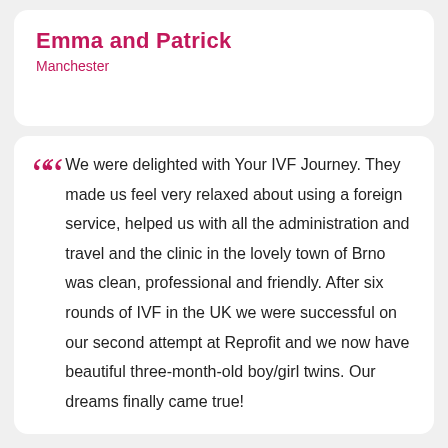Emma and Patrick
Manchester
We were delighted with Your IVF Journey. They made us feel very relaxed about using a foreign service, helped us with all the administration and travel and the clinic in the lovely town of Brno was clean, professional and friendly. After six rounds of IVF in the UK we were successful on our second attempt at Reprofit and we now have beautiful three-month-old boy/girl twins. Our dreams finally came true!